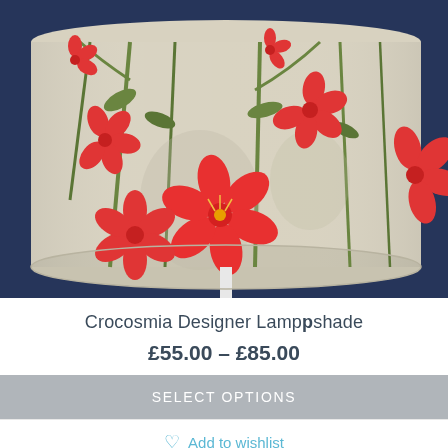[Figure (photo): A lampshade with a floral Crocosmia design — red and pink flowers with green stems on a cream/beige background, photographed against a dark navy blue background. The lamp has a white pole/stand.]
Crocosmia Designer Lampshade
£55.00 – £85.00
SELECT OPTIONS
Add to wishlist